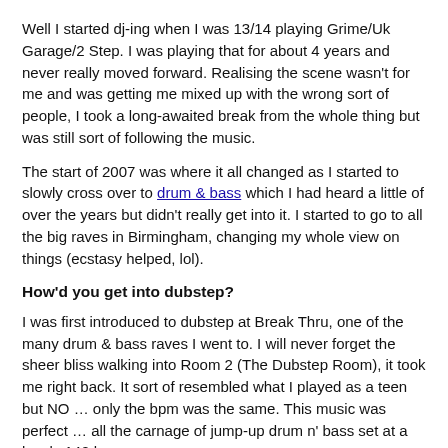Well I started dj-ing when I was 13/14 playing Grime/Uk Garage/2 Step. I was playing that for about 4 years and never really moved forward. Realising the scene wasn't for me and was getting me mixed up with the wrong sort of people, I took a long-awaited break from the whole thing but was still sort of following the music.
The start of 2007 was where it all changed as I started to slowly cross over to drum & bass which I had heard a little of over the years but didn't really get into it. I started to go to all the big raves in Birmingham, changing my whole view on things (ecstasy helped, lol).
How'd you get into dubstep?
I was first introduced to dubstep at Break Thru, one of the many drum & bass raves I went to. I will never forget the sheer bliss walking into Room 2 (The Dubstep Room), it took me right back. It sort of resembled what I played as a teen but NO … only the bpm was the same. This music was perfect … all the carnage of jump-up drum n' bass set at a lovely 140 bpm.
It all started there really. I was off, inspired once again!!!
What is it about dubstep that does it for you?
Dubstep basically covers all the ranges of frequencies I want to hear. From the deeper than deep vibes of Kryptic Minds, DJ Madd, Youngsta etc. to the ear-piercing stompers of Flux Pavilion, Datsik, Trolley Snatcha etc, not to forget about perfect anthems from Chase & Status, Drumsound